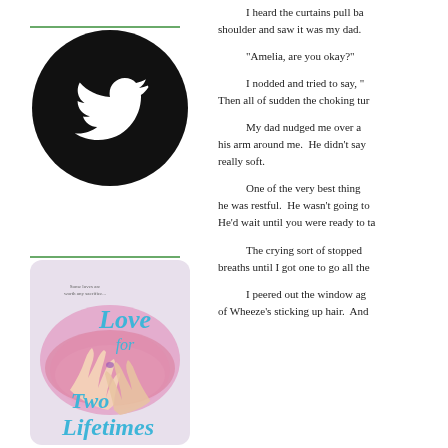[Figure (logo): Twitter bird logo in white on black circle]
[Figure (illustration): Book cover for 'Love for Two Lifetimes' with watercolor art of two hands reaching toward each other and text 'Some loves are worth any sacrifice...']
I heard the curtains pull ba shoulder and saw it was my dad.
“Amelia, are you okay?”
I nodded and tried to say, “ Then all of sudden the choking tur
My dad nudged me over a his arm around me.  He didn’t say really soft.
One of the very best thing he was restful.  He wasn’t going to He’d wait until you were ready to ta
The crying sort of stopped breaths until I got one to go all the
I peered out the window ag of Wheeze’s sticking up hair.  And